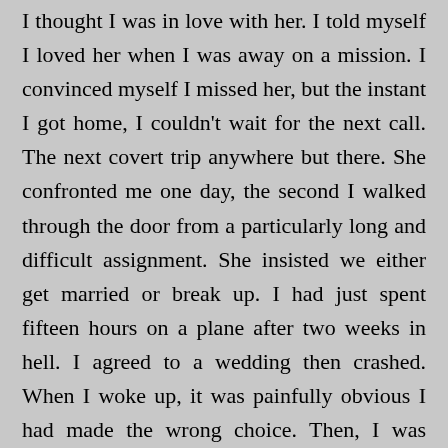I thought I was in love with her. I told myself I loved her when I was away on a mission. I convinced myself I missed her, but the instant I got home, I couldn't wait for the next call. The next covert trip anywhere but there. She confronted me one day, the second I walked through the door from a particularly long and difficult assignment. She insisted we either get married or break up. I had just spent fifteen hours on a plane after two weeks in hell. I agreed to a wedding then crashed. When I woke up, it was painfully obvious I had made the wrong choice. Then, I was called away on another job. Twelve hours of rest and a monumental mistake, then back on a flight to...well, it doesn't